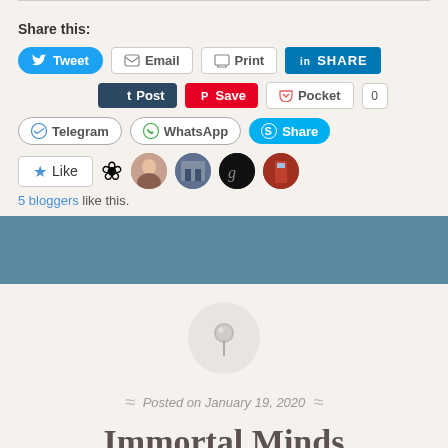Share this:
[Figure (screenshot): Social sharing buttons row 1: Tweet (Twitter), Email, Print, LinkedIn SHARE]
[Figure (screenshot): Social sharing buttons row 2: Tumblr Post, Pinterest Save, Pocket with count 0]
[Figure (screenshot): Social sharing buttons row 3: Telegram, WhatsApp, Skype Share]
[Figure (screenshot): Like button and 5 blogger avatars]
5 bloggers like this.
[Figure (illustration): Blue horizontal stripe divider]
[Figure (illustration): Pin/thumbtack icon in a circle]
Posted on January 19, 2020
Immortal Minds